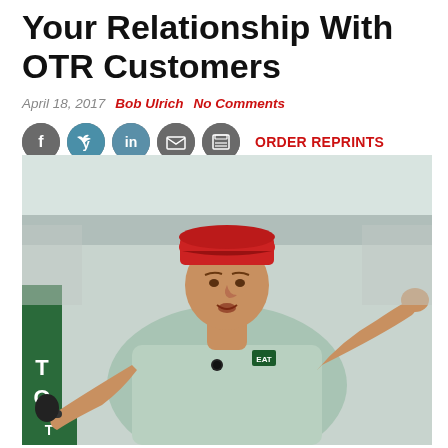Your Relationship With OTR Customers
April 18, 2017   Bob Ulrich   No Comments
[Figure (photo): Man in red baseball cap and light green/mint shirt speaking at a podium or event, holding a microphone in his left hand, gesturing with both hands raised. A green banner with letters 'T' visible on the left side and a logo on his shirt.]